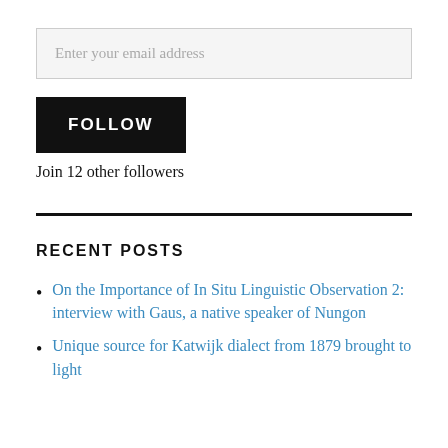Enter your email address
FOLLOW
Join 12 other followers
RECENT POSTS
On the Importance of In Situ Linguistic Observation 2: interview with Gaus, a native speaker of Nungon
Unique source for Katwijk dialect from 1879 brought to light